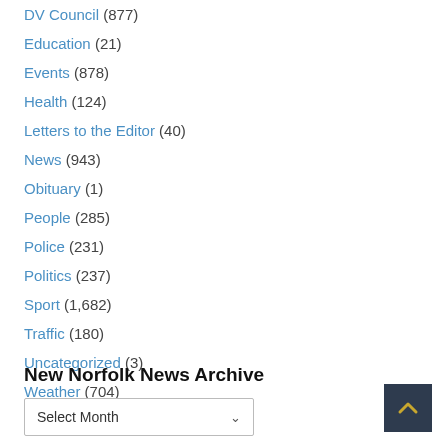DV Council (877)
Education (21)
Events (878)
Health (124)
Letters to the Editor (40)
News (943)
Obituary (1)
People (285)
Police (231)
Politics (237)
Sport (1,682)
Traffic (180)
Uncategorized (3)
Weather (704)
New Norfolk News Archive
Select Month